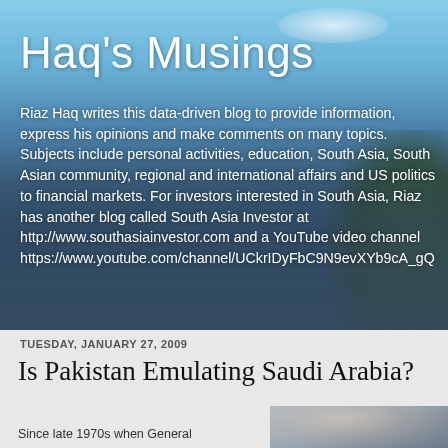[Figure (photo): Blog header banner with road/highway photo background showing blue sky, clouds, trees and road, overlaid with blog title and description text]
Haq's Musings
Riaz Haq writes this data-driven blog to provide information, express his opinions and make comments on many topics. Subjects include personal activities, education, South Asia, South Asian community, regional and international affairs and US politics to financial markets. For investors interested in South Asia, Riaz has another blog called South Asia Investor at http://www.southasiainvestor.com and a YouTube video channel https://www.youtube.com/channel/UCkrIDyFbC9N9evXYb9cA_gQ
TUESDAY, JANUARY 27, 2009
Is Pakistan Emulating Saudi Arabia?
Since late 1970s when General
[Figure (photo): Partial photo of a person, appears to be a head/portrait shot, cropped at bottom of page]